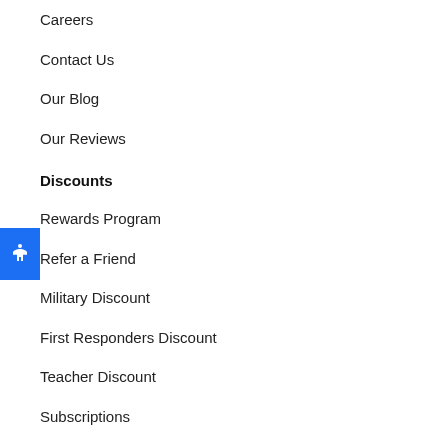Careers
Contact Us
Our Blog
Our Reviews
Discounts
Rewards Program
Refer a Friend
Military Discount
First Responders Discount
Teacher Discount
Subscriptions
Special Deals
Support